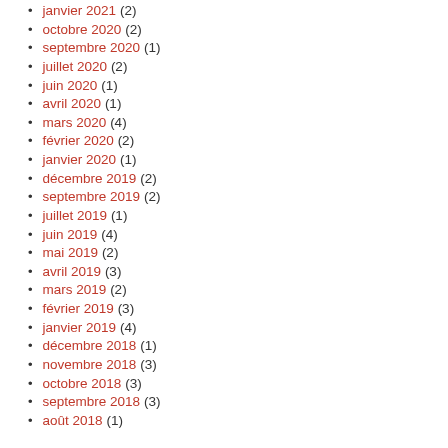janvier 2021 (2)
octobre 2020 (2)
septembre 2020 (1)
juillet 2020 (2)
juin 2020 (1)
avril 2020 (1)
mars 2020 (4)
février 2020 (2)
janvier 2020 (1)
décembre 2019 (2)
septembre 2019 (2)
juillet 2019 (1)
juin 2019 (4)
mai 2019 (2)
avril 2019 (3)
mars 2019 (2)
février 2019 (3)
janvier 2019 (4)
décembre 2018 (1)
novembre 2018 (3)
octobre 2018 (3)
septembre 2018 (3)
août 2018 (1)